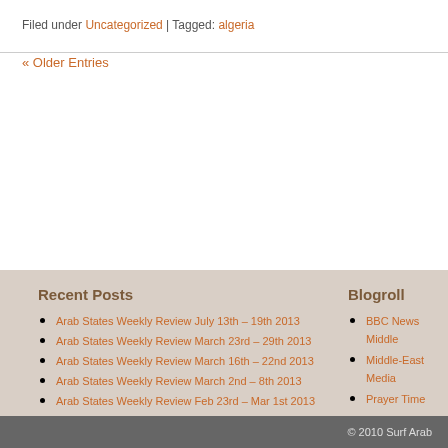Filed under Uncategorized | Tagged: algeria
« Older Entries
Recent Posts
Arab States Weekly Review July 13th – 19th 2013
Arab States Weekly Review March 23rd – 29th 2013
Arab States Weekly Review March 16th – 22nd 2013
Arab States Weekly Review March 2nd – 8th 2013
Arab States Weekly Review Feb 23rd – Mar 1st 2013
Arab States Weekly Review Feb 16th – 22nd 2013
Arab States Weekly Review Feb 9th – 15th 2013
Arab States Weekly Review Feb 2nd – 8th 2013
Arab States Weekly Review Jan 26th – Feb 1st 2013
Arab States Weekly Review January 19th – 25th 2013
Blogroll
BBC News Middle
Middle-East Media
Prayer Time
© 2010 Surf Arab